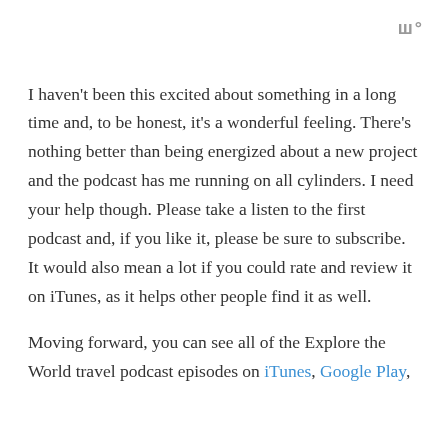W°
I haven't been this excited about something in a long time and, to be honest, it's a wonderful feeling. There's nothing better than being energized about a new project and the podcast has me running on all cylinders. I need your help though. Please take a listen to the first podcast and, if you like it, please be sure to subscribe. It would also mean a lot if you could rate and review it on iTunes, as it helps other people find it as well.
Moving forward, you can see all of the Explore the World travel podcast episodes on iTunes, Google Play,